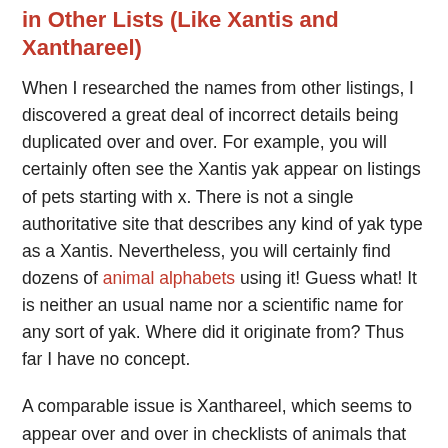in Other Lists (Like Xantis and Xanthareel)
When I researched the names from other listings, I discovered a great deal of incorrect details being duplicated over and over. For example, you will certainly often see the Xantis yak appear on listings of pets starting with x. There is not a single authoritative site that describes any kind of yak type as a Xantis. Nevertheless, you will certainly find dozens of animal alphabets using it! Guess what! It is neither an usual name nor a scientific name for any sort of yak. Where did it originate from? Thus far I have no concept.
A comparable issue is Xanthareel, which seems to appear over and over in checklists of animals that begin with x and is slightly specified as "a yellow eel